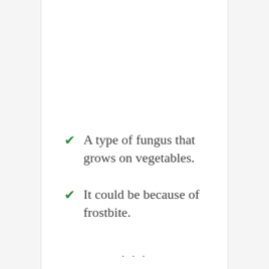A type of fungus that grows on vegetables.
It could be because of frostbite.